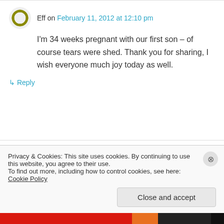Eff on February 11, 2012 at 12:10 pm
I'm 34 weeks pregnant with our first son – of course tears were shed. Thank you for sharing, I wish everyone much joy today as well.
↳ Reply
Jen Morgan on February 11, 2012 at 12:50 pm
Privacy & Cookies: This site uses cookies. By continuing to use this website, you agree to their use. To find out more, including how to control cookies, see here: Cookie Policy
Close and accept